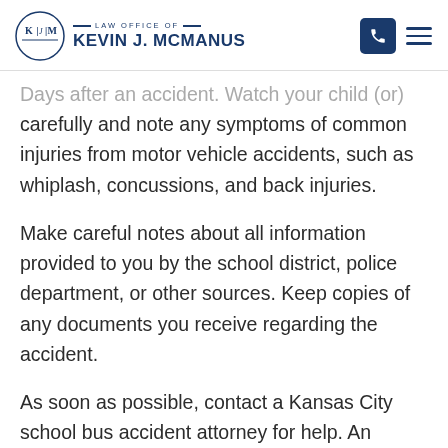LAW OFFICE OF KEVIN J. MCMANUS
Days after an accident. Watch your child (or) carefully and note any symptoms of common injuries from motor vehicle accidents, such as whiplash, concussions, and back injuries.
Make careful notes about all information provided to you by the school district, police department, or other sources. Keep copies of any documents you receive regarding the accident.
As soon as possible, contact a Kansas City school bus accident attorney for help. An attorney takes immediate steps to protect your child's legal rights by